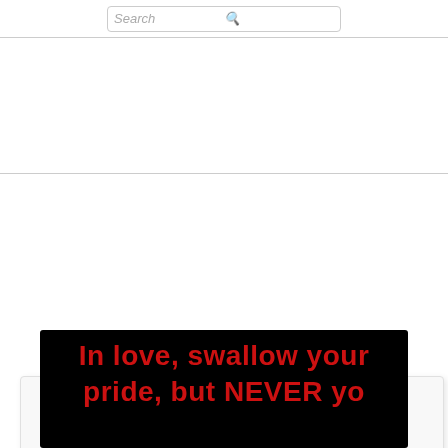Search
[Figure (illustration): Quote card with large opening quotation marks and bold text: 'And then you meet one person and your life changes forever']
[Figure (illustration): Black background card with red bold text: 'In love, swallow your pride, but NEVER...' (text cut off at bottom)]